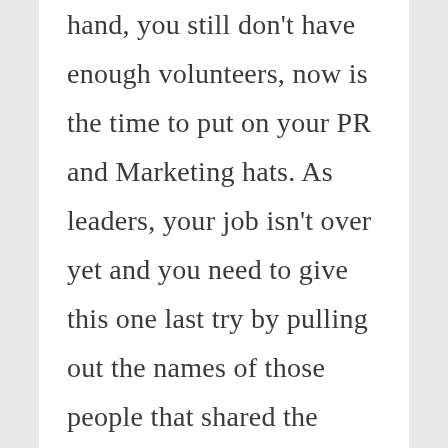hand, you still don't have enough volunteers, now is the time to put on your PR and Marketing hats. As leaders, your job isn't over yet and you need to give this one last try by pulling out the names of those people that shared the suggestions that are being focused on and communicate with them directly. Ask them to be on, or even chair, the committee explaining to